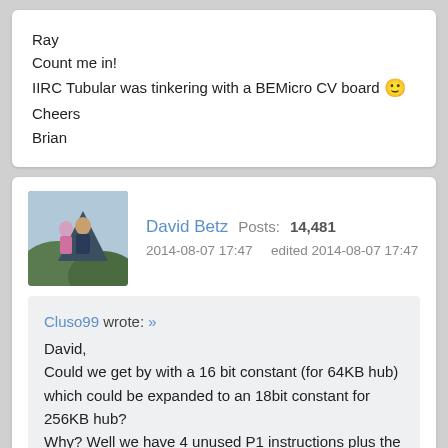Ray
Count me in!
IIRC Tubular was tinkering with a BEMicro CV board 🙂
Cheers
Brian
David Betz  Posts: 14,481
2014-08-07 17:47   edited 2014-08-07 17:47
Cluso99 wrote: »
David,
Could we get by with a 16 bit constant (for 64KB hub) which could be expanded to an 18bit constant for 256KB hub?
Why? Well we have 4 unused P1 instructions plus the ability to expand the SYSOP instruction while totally keeping backward compatibility.
So, one will be the CALL/JMP/RET with 16-18 bit constant (absolute address) - I am thinking just